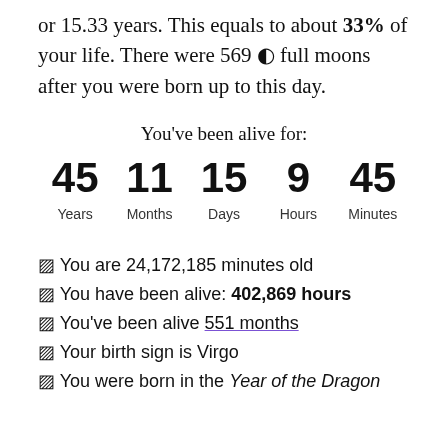or 15.33 years. This equals to about 33% of your life. There were 569 🌑 full moons after you were born up to this day.
You've been alive for:
45 Years  11 Months  15 Days  9 Hours  45 Minutes
☑ You are 24,172,185 minutes old
☑ You have been alive: 402,869 hours
☑ You've been alive 551 months
☑ Your birth sign is Virgo
☑ You were born in the Year of the Dragon